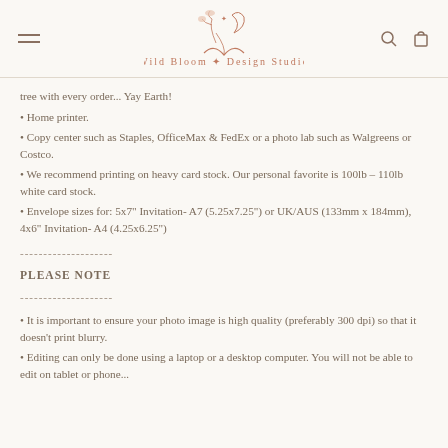Wild Bloom Design Studio
tree with every order... Yay Earth!
Home printer.
Copy center such as Staples, OfficeMax & FedEx or a photo lab such as Walgreens or Costco.
We recommend printing on heavy card stock. Our personal favorite is 100lb - 110lb white card stock.
Envelope sizes for: 5x7" Invitation- A7 (5.25x7.25") or UK/AUS (133mm x 184mm), 4x6" Invitation- A4 (4.25x6.25")
--------------------
PLEASE NOTE
--------------------
It is important to ensure your photo image is high quality (preferably 300 dpi) so that it doesn't print blurry.
Editing can only be done using a laptop or a desktop computer. You will not be able to edit on tablet or phone...